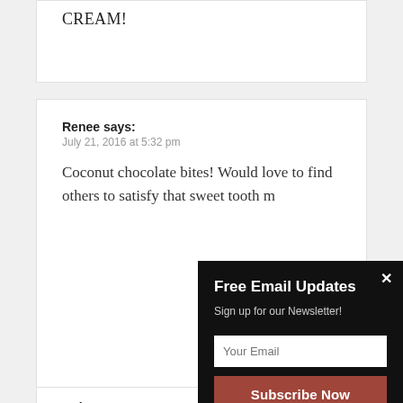CREAM!
Renee says:
July 21, 2016 at 5:32 pm

Coconut chocolate bites! Would love to find others to satisfy that sweet tooth m...
Aubrey M. say...
Free Email Updates
Sign up for our Newsletter!
[Your Email input]
[Subscribe Now button]